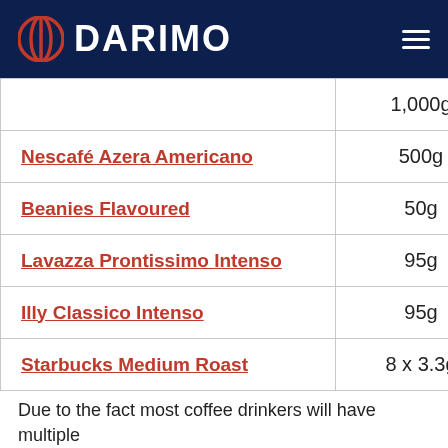DARIMO
| Product | Size |
| --- | --- |
|  | 1,000g |
| Nescafé Azera Americano | 500g |
| Beanies Flavoured | 50g |
| Lavazza Prontissimo Intenso | 95g |
| Illy Classico Intenso | 95g |
| Starbucks Medium Roast | 8 x 3.3g |
Due to the fact most coffee drinkers will have multiple